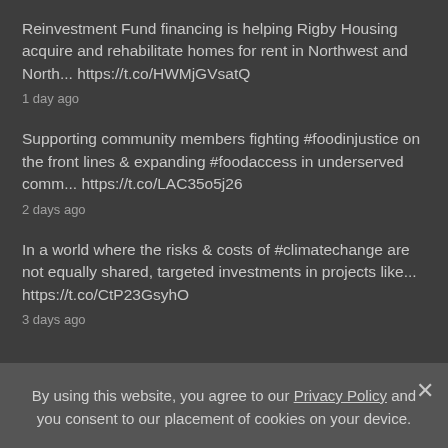Reinvestment Fund financing is helping Rigby Housing acquire and rehabilitate homes for rent in Northwest and North... https://t.co/HWMjGVsatQ
1 day ago
Supporting community members fighting #foodinjustice on the front lines & expanding #foodaccess in underserved comm... https://t.co/LAC35o5j26
2 days ago
In a world where the risks & costs of #climatechange are not equally shared, targeted investments in projects like... https://t.co/CtP23GsyhO
3 days ago
By using this website, you agree to our Privacy Policy and you consent to our placement of cookies on your device.